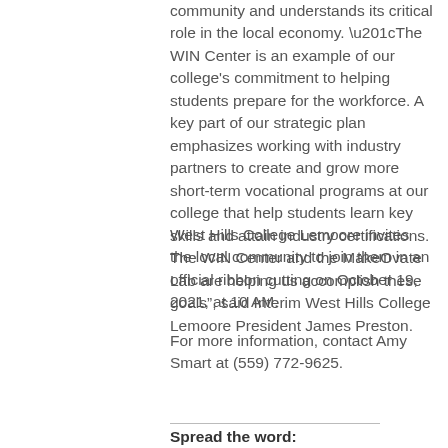community and understands its critical role in the local economy. “The WIN Center is an example of our college's commitment to helping students prepare for the workforce. A key part of our strategic plan emphasizes working with industry partners to create and grow more short-term vocational programs at our college that help students learn key skills and attain industry certifications. The WIN Center and the MakeOvate Lab are helping us accomplish these goals”, said Interim West Hills College Lemoore President James Preston.
West Hills College Lemoore invites the local community to join them in an official ribbon cutting on October 19, 2021, at 10 AM.
For more information, contact Amy Smart at (559) 772-9625.
Spread the word: